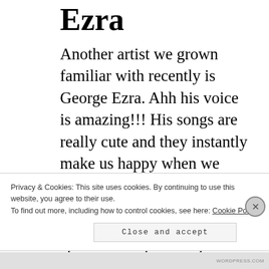Ezra
Another artist we grown familiar with recently is George Ezra. Ahh his voice is amazing!!! His songs are really cute and they instantly make us happy when we listen to them. Also his music videos are really cool.
Favourite songs: pretty shining people, paradise, only human
Privacy & Cookies: This site uses cookies. By continuing to use this website, you agree to their use.
To find out more, including how to control cookies, see here: Cookie Policy
Close and accept